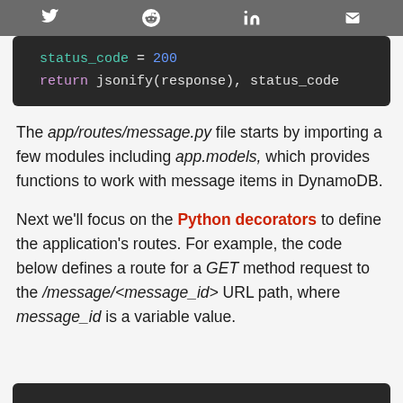social share icons: twitter, reddit, linkedin, email
[Figure (screenshot): Code block showing: status_code = 200 / return jsonify(response), status_code on dark background]
The app/routes/message.py file starts by importing a few modules including app.models, which provides functions to work with message items in DynamoDB.
Next we'll focus on the Python decorators to define the application's routes. For example, the code below defines a route for a GET method request to the /message/<message_id> URL path, where message_id is a variable value.
[Figure (screenshot): Partial dark code block visible at bottom of page]